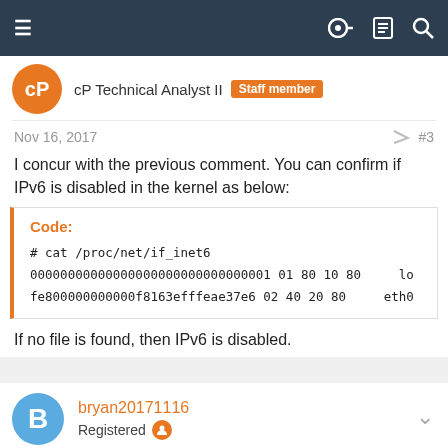Navigation menu, key, list, search icons
cP Technical Analyst II  Staff member
Nov 16, 2017  #3
I concur with the previous comment. You can confirm if IPv6 is disabled in the kernel as below:
Code:
# cat /proc/net/if_inet6
00000000000000000000000000000001 01 80 10 80      lo
fe800000000000f8163efffeae37e6 02 40 20 80      eth0
If no file is found, then IPv6 is disabled.
bryan20171116
Registered